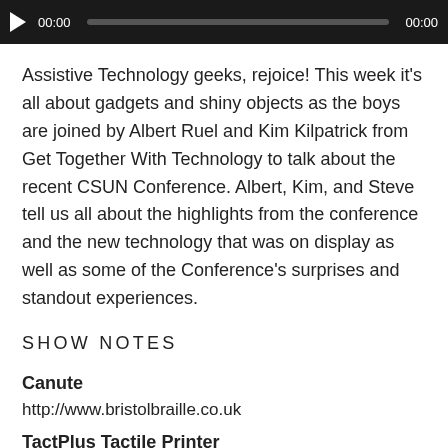[Figure (other): Audio player bar with play button, timestamp 00:00, progress bar, and end time 00:00]
Assistive Technology geeks, rejoice! This week it's all about gadgets and shiny objects as the boys are joined by Albert Ruel and Kim Kilpatrick from Get Together With Technology to talk about the recent CSUN Conference. Albert, Kim, and Steve tell us all about the highlights from the conference and the new technology that was on display as well as some of the Conference's surprises and standout experiences.
SHOW NOTES
Canute
http://www.bristolbraille.co.uk
TactPlus Tactile Printer
https://www.tactplusprinter.com
BrailleMe
http://innovisiontech.co/brailleme
B2G